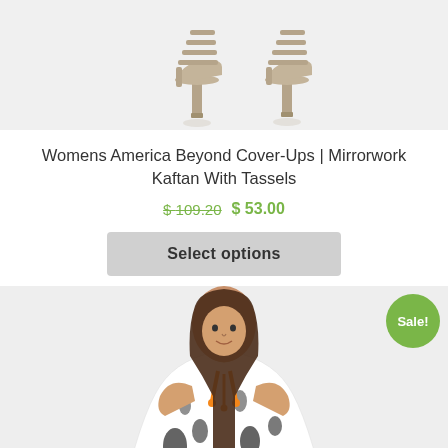[Figure (photo): Top portion of a product photo showing tan/beige strappy heeled sandals against a light gray background]
Womens America Beyond Cover-Ups | Mirrorwork Kaftan With Tassels
$ 109.20 $ 53.00
Select options
[Figure (photo): Woman wearing a black and white abstract print kaftan with orange tassel details at the neckline, with a Sale! badge in the top right corner]